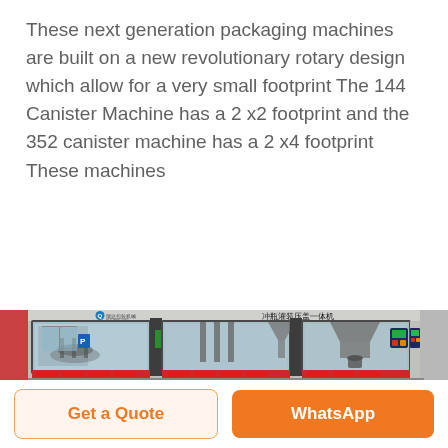These next generation packaging machines are built on a new revolutionary rotary design which allow for a very small footprint The 144 Canister Machine has a 2 x2 footprint and the 352 canister machine has a 2 x4 footprint These machines
[Figure (photo): Industrial packaging machine with transparent glass panels showing internal components, stainless steel frame, Chinese text label on top reading 冲瓶灌装压盖一体机, with control panels and mechanical filling/capping equipment visible inside]
Get a Quote
WhatsApp